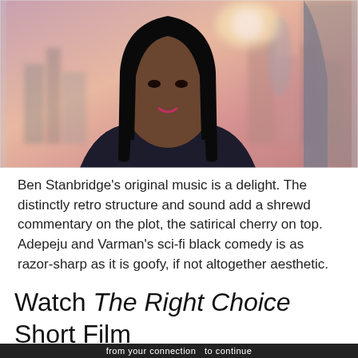[Figure (photo): A woman with long straight dark hair, wearing a dark blazer and light top, in a video interview setting with a blurred city skyline background featuring pink/orange hues and tall buildings]
Ben Stanbridge's original music is a delight. The distinctly retro structure and sound add a shrewd commentary on the plot, the satirical cherry on top. Adepeju and Varman's sci-fi black comedy is as razor-sharp as it is goofy, if not altogether aesthetic.
Watch The Right Choice Short Film
from your connection  to continue